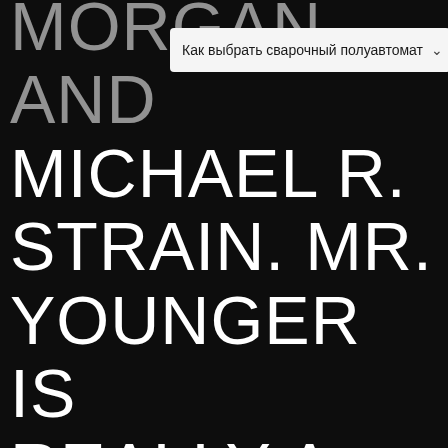MORGAN AND MICHAEL R. STRAIN. MR. YOUNGER IS REALLY A PROFESSOR IN BANKING INSTITUTIONS AND
[Figure (screenshot): A dropdown menu overlay showing Russian text 'Как выбрать сварочный полуавтомат' with a dropdown arrow]